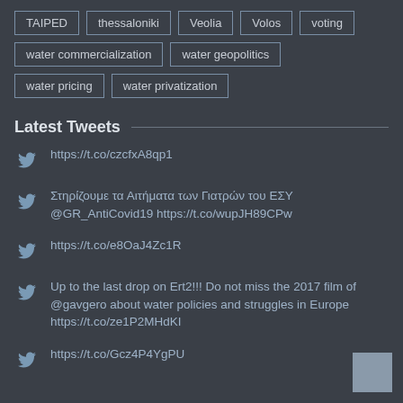TAIPED
thessaloniki
Veolia
Volos
voting
water commercialization
water geopolitics
water pricing
water privatization
Latest Tweets
https://t.co/czcfxA8qp1
Στηρίζουμε τα Αιτήματα των Γιατρών του ΕΣΥ @GR_AntiCovid19 https://t.co/wupJH89CPw
https://t.co/e8OaJ4Zc1R
Up to the last drop on Ert2!!! Do not miss the 2017 film of @gavgero about water policies and struggles in Europe https://t.co/ze1P2MHdKI
https://t.co/Gcz4P4YgPU